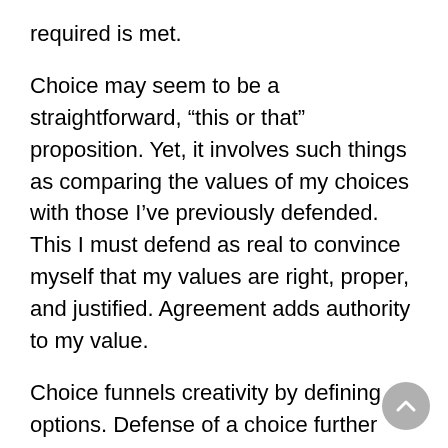required is met.
Choice may seem to be a straightforward, “this or that” proposition. Yet, it involves such things as comparing the values of my choices with those I’ve previously defended. This I must defend as real to convince myself that my values are right, proper, and justified. Agreement adds authority to my value.
Choice funnels creativity by defining options. Defense of a choice further funnels wholeness to fewer and fewer options. Defining aspects as having value, purpose, authority, agreement, and etc. limits the potential of something to specifics. When I: